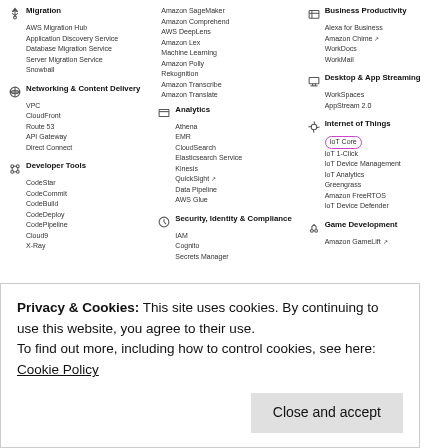Migration
AWS Migration Hub
Application Discovery Service
Database Migration Service
Server Migration Service
Snowball
Networking & Content Delivery
VPC
CloudFront
Route 53
API Gateway
Direct Connect
Developer Tools
CodeStar
CodeCommit
CodeBuild
CodeDeploy
CodePipeline
Cloud9
X-Ray
Analytics
Athena
EMR
CloudSearch
Elasticsearch Service
Kinesis
QuickSight
Data Pipeline
AWS Glue
Security, Identity & Compliance
IAM
Cognito
Secrets Manager
Business Productivity
Alexa for Business
Amazon Chime
WorkDocs
WorkMail
Desktop & App Streaming
WorkSpaces
AppStream 2.0
Internet of Things
IoT Core
IoT 1-Click
IoT Device Management
IoT Analytics
Greengrass
Amazon FreeRTOS
IoT Device Defender
Game Development
Amazon GameLift
Privacy & Cookies: This site uses cookies. By continuing to use this website, you agree to their use.
To find out more, including how to control cookies, see here: Cookie Policy
Close and accept